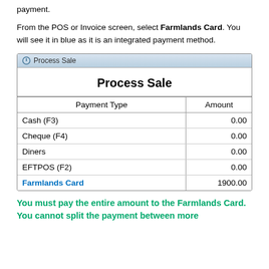payment.
From the POS or Invoice screen, select Farmlands Card.  You will see it in blue as it is an integrated payment method.
[Figure (screenshot): Process Sale window screenshot showing a table with Payment Type and Amount columns. Rows: Cash (F3) 0.00, Cheque (F4) 0.00, Diners 0.00, EFTPOS (F2) 0.00, Farmlands Card 1900.00]
You must pay the entire amount to the Farmlands Card.  You cannot split the payment between more than one Payment Type.